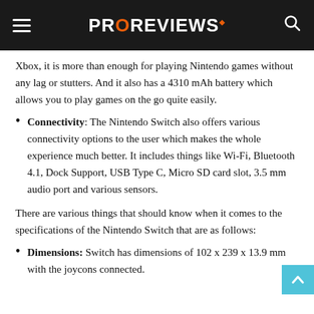PROREVIEWS
Xbox, it is more than enough for playing Nintendo games without any lag or stutters. And it also has a 4310 mAh battery which allows you to play games on the go quite easily.
Connectivity: The Nintendo Switch also offers various connectivity options to the user which makes the whole experience much better. It includes things like Wi-Fi, Bluetooth 4.1, Dock Support, USB Type C, Micro SD card slot, 3.5 mm audio port and various sensors.
There are various things that should know when it comes to the specifications of the Nintendo Switch that are as follows:
Dimensions: Switch has dimensions of 102 x 239 x 13.9 mm with the joycons connected.